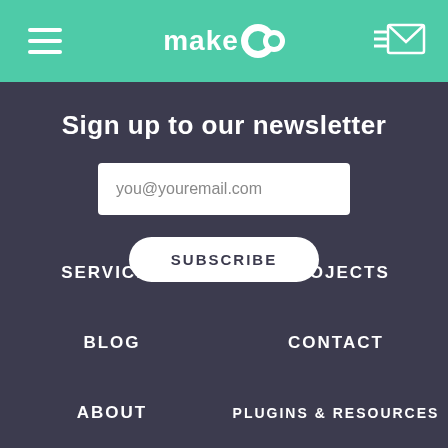make do — navigation header with hamburger menu and mail icon
Sign up to our newsletter
you@youremail.com
SUBSCRIBE
SERVICES
PROJECTS
BLOG
CONTACT
ABOUT
PLUGINS & RESOURCES